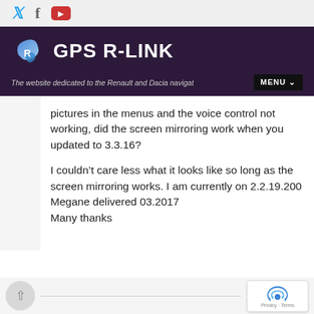GPS R-LINK — The website dedicated to the Renault and Dacia navigation s… MENU
pictures in the menus and the voice control not working, did the screen mirroring work when you updated to 3.3.16?
I couldn't care less what it looks like so long as the screen mirroring works. I am currently on 2.2.19.200
Megane delivered 03.2017
Many thanks